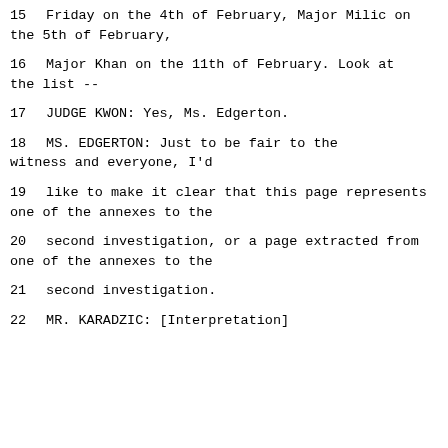15   Friday on the 4th of February. Major Milic on the 5th of February,
16   Major Khan on the 11th of February.  Look at the list --
17          JUDGE KWON:  Yes, Ms. Edgerton.
18          MS. EDGERTON:  Just to be fair to the witness and everyone, I'd
19   like to make it clear that this page represents one of the annexes to the
20   second investigation, or a page extracted from one of the annexes to the
21   second investigation.
22          MR. KARADZIC: [Interpretation]